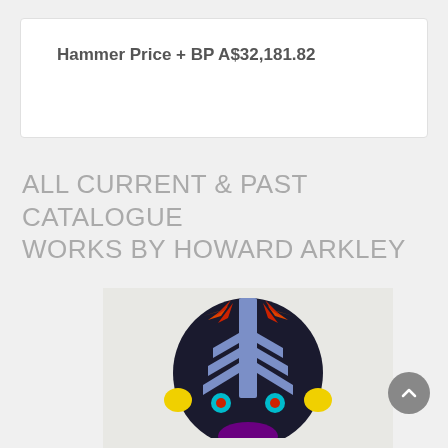Hammer Price + BP A$32,181.82
ALL CURRENT & PAST CATALOGUE WORKS BY HOWARD ARKLEY
[Figure (photo): Artwork by Howard Arkley showing a colorful stylized face/mask with black circular head, blue cross/chevron pattern, red and orange leaf-like shapes, yellow ears, cyan and red eye details, on a light background.]